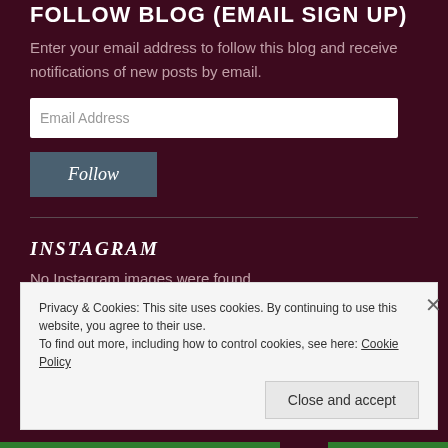FOLLOW BLOG (EMAIL SIGN UP)
Enter your email address to follow this blog and receive notifications of new posts by email.
Email Address
Follow
INSTAGRAM
No Instagram images were found.
Privacy & Cookies: This site uses cookies. By continuing to use this website, you agree to their use.
To find out more, including how to control cookies, see here: Cookie Policy
Close and accept